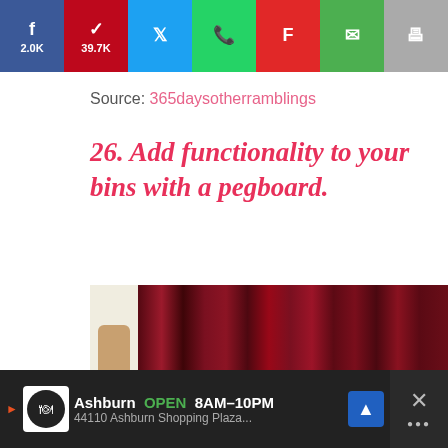[Figure (screenshot): Social share bar with Facebook (2.0K), Pinterest (39.7K), Twitter, WhatsApp, Flipboard, Email, and Print buttons]
Source: 365daysotherramblings
26. Add functionality to your bins with a pegboard.
[Figure (photo): Photo showing person next to dark red/maroon curtains, with side action buttons showing heart icon with 41.7K count and share icon. A 'What's Next' overlay shows '30 Genius Ways to Reu...' with thumbnail.]
Ashburn OPEN 8AM–10PM 44110 Ashburn Shopping Plaza...